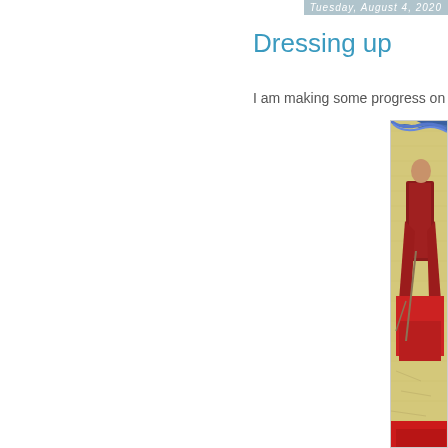Tuesday, August 4, 2020
Dressing up
I am making some progress on
[Figure (photo): Partial view of a figure/doll dressed in colorful historical costume with blue feathered hat and red clothing, on a textured yellowish-beige background]